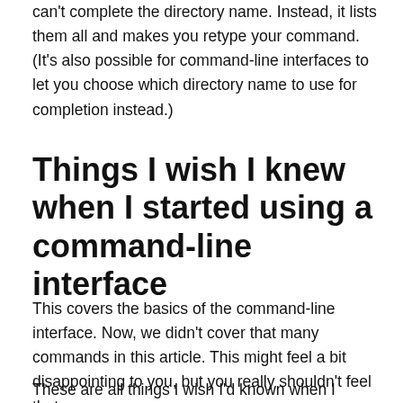can't complete the directory name. Instead, it lists them all and makes you retype your command. (It's also possible for command-line interfaces to let you choose which directory name to use for completion instead.)
Things I wish I knew when I started using a command-line interface
This covers the basics of the command-line interface. Now, we didn't cover that many commands in this article. This might feel a bit disappointing to you, but you really shouldn't feel that way.
These are all things I wish I'd known when I started